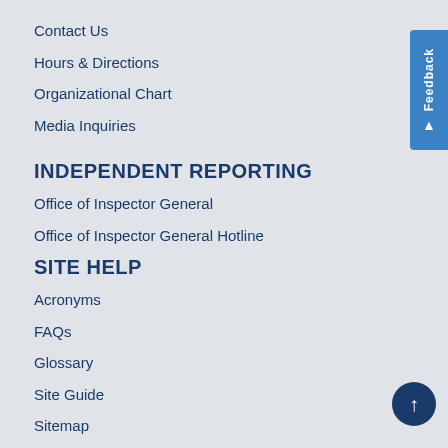Contact Us
Hours & Directions
Organizational Chart
Media Inquiries
INDEPENDENT REPORTING
Office of Inspector General
Office of Inspector General Hotline
SITE HELP
Acronyms
FAQs
Glossary
Site Guide
Sitemap
GOVERNMENT
U.S. Customs and Border Protection